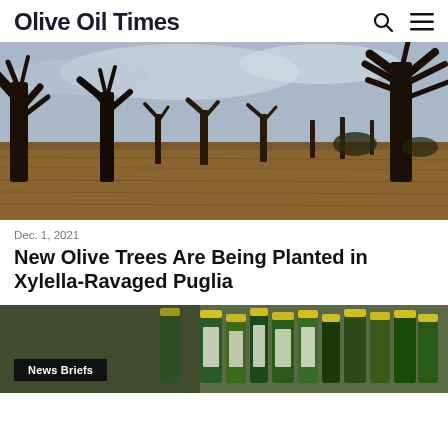Olive Oil Times
[Figure (photo): Bare, dead olive trees in a dry field in Puglia, Italy, devastated by Xylella bacteria. Brown dead grass covers the ground under leafless, skeletal trees against a partly cloudy sky.]
Dec. 1, 2021
New Olive Trees Are Being Planted in Xylella-Ravaged Puglia
[Figure (photo): Partial view of olive oil bottles on shelves, with a black label reading 'News Briefs' overlay in the lower left corner.]